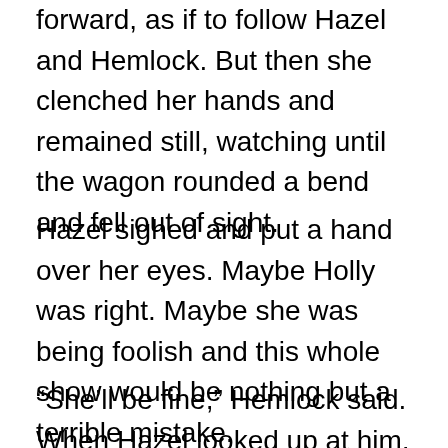forward, as if to follow Hazel and Hemlock. But then she clenched her hands and remained still, watching until the wagon rounded a bend and fell out of sight.
Hazel sighed and put a hand over her eyes. Maybe Holly was right. Maybe she was being foolish and this whole show would be nothing but a terrible mistake.
“She’ll be fine,” Hemlock said. When Hazel looked up at him, he added, “So will we.”